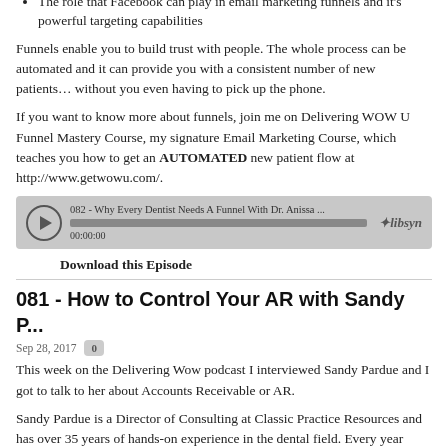How to setup a funnel for your practice
The role that Facebook can play in email marketing funnels and it's powerful targeting capabilities
Funnels enable you to build trust with people. The whole process can be automated and it can provide you with a consistent number of new patients… without you even having to pick up the phone.
If you want to know more about funnels, join me on Delivering WOW U Funnel Mastery Course, my signature Email Marketing Course, which teaches you how to get an AUTOMATED new patient flow at http://www.getwowu.com/.
[Figure (other): Audio player widget showing episode: 082 - Why Every Dentist Needs A Funnel With Dr. Anissa ... with play button, progress bar, timestamp 00:00:00, and Libsyn logo]
Download this Episode
081 - How to Control Your AR with Sandy P...
Sep 28, 2017
This week on the Delivering Wow podcast I interviewed Sandy Pardue and I got to talk to her about Accounts Receivable or AR.
Sandy Pardue is a Director of Consulting at Classic Practice Resources and has over 35 years of hands-on experience in the dental field. Every year since